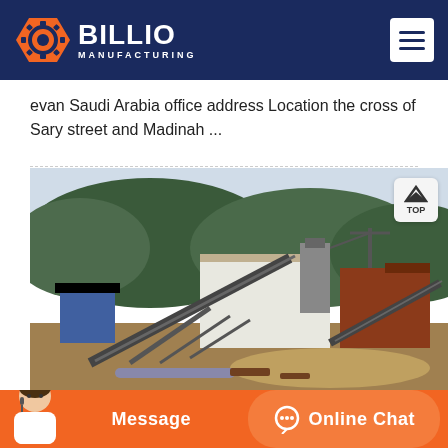BILLIO MANUFACTURING
evan Saudi Arabia office address Location the cross of Sary street and Madinah ...
[Figure (photo): Industrial crushing/mining equipment plant with conveyor belts, processing machinery, and forested hills in the background. Outdoor facility on a dirt yard.]
Message   Online Chat